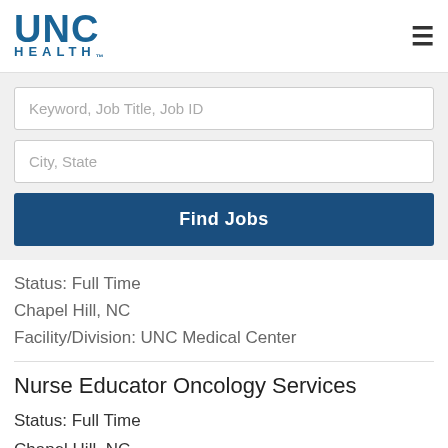[Figure (logo): UNC Health logo with blue UNC text and HEALTH.. subtitle]
Keyword, Job Title, Job ID
City, State
Find Jobs
Status: Full Time
Chapel Hill, NC
Facility/Division: UNC Medical Center
Nurse Educator Oncology Services
Status: Full Time
Chapel Hill, NC
Facility/Division: UNC Medical Center